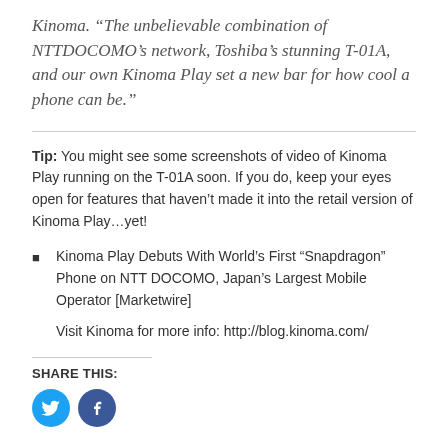Kinoma. “The unbelievable combination of NTTDOCOMO’s network, Toshiba’s stunning T-01A, and our own Kinoma Play set a new bar for how cool a phone can be.”
Tip: You might see some screenshots of video of Kinoma Play running on the T-01A soon. If you do, keep your eyes open for features that haven’t made it into the retail version of Kinoma Play…yet!
Kinoma Play Debuts With World’s First “Snapdragon” Phone on NTT DOCOMO, Japan’s Largest Mobile Operator [Marketwire]
Visit Kinoma for more info: http://blog.kinoma.com/
SHARE THIS:
[Figure (other): Twitter and Facebook social share icon buttons]